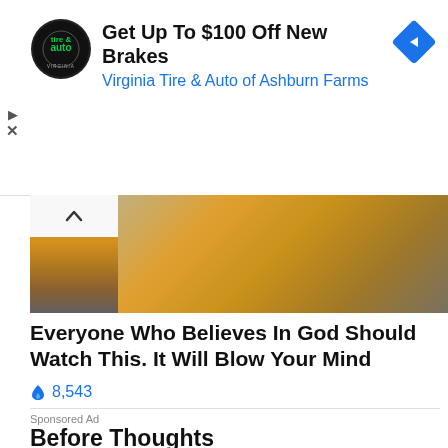[Figure (other): Advertisement banner for Virginia Tire & Auto of Ashburn Farms with logo and navigation icon]
Get Up To $100 Off New Brakes
Virginia Tire & Auto of Ashburn Farms
[Figure (photo): Dramatic sky with orange and golden clouds, storm imagery]
Everyone Who Believes In God Should Watch This. It Will Blow Your Mind
🔥 8,543
Sponsored Ad
Before Thoughts